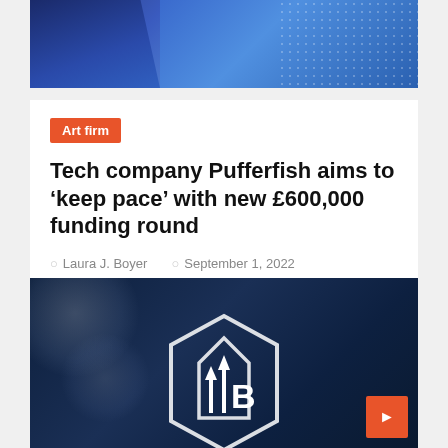[Figure (photo): Abstract blue gradient image with geometric shapes and dot pattern texture on the right side]
Art firm
Tech company Pufferfish aims to ‘keep pace’ with new £600,000 funding round
Laura J. Boyer   September 1, 2022
[Figure (photo): Dark navy blue background with bokeh light effects and a hexagonal house logo containing the letters IB with upward arrows]